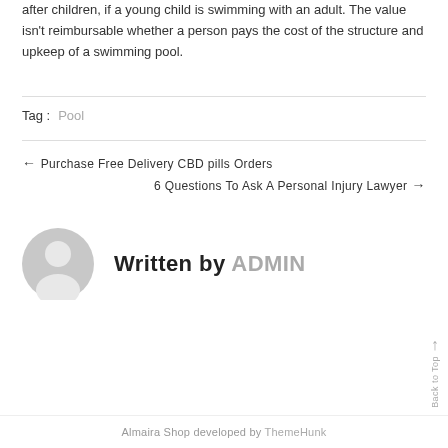after children, if a young child is swimming with an adult. The value isn't reimbursable whether a person pays the cost of the structure and upkeep of a swimming pool.
Tag : Pool
← Purchase Free Delivery CBD pills Orders
6 Questions To Ask A Personal Injury Lawyer →
[Figure (illustration): Gray default avatar icon — silhouette of a person's head and shoulders inside a circle]
Written by ADMIN
Back to Top ↑
Almaira Shop developed by ThemeHunk